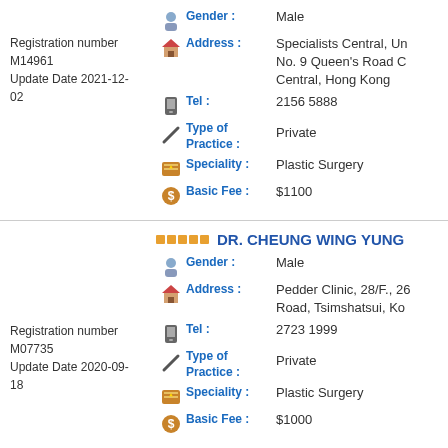Registration number M14961
Update Date 2021-12-02
Gender: Male
Address: Specialists Central, U... No. 9 Queen's Road C... Central, Hong Kong
Tel: 2156 5888
Type of Practice: Private
Speciality: Plastic Surgery
Basic Fee: $1100
DR. CHEUNG WING YUNG
Registration number M07735
Update Date 2020-09-18
Gender: Male
Address: Pedder Clinic, 28/F., 26... Road, Tsimshatsui, Ko...
Tel: 2723 1999
Type of Practice: Private
Speciality: Plastic Surgery
Basic Fee: $1000
TSANG KWOK YING
Gender: Male
Address: Carelink Medical Centr...